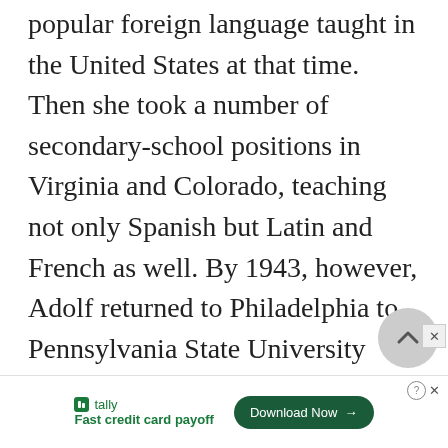knowledge of Spanish, the most popular foreign language taught in the United States at that time. Then she took a number of secondary-school positions in Virginia and Colorado, teaching not only Spanish but Latin and French as well. By 1943, however, Adolf returned to Philadelphia to Pennsylvania State University where she began her ascent up the academic ladder, achieving the rank of full professor in 1953.
[Figure (other): Advertisement banner for Tally app with 'Fast credit card payoff' text and a 'Download Now' button. A scroll-to-top circular button and close button are also visible.]